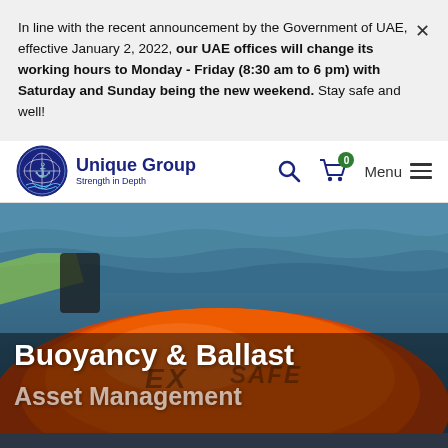In line with the recent announcement by the Government of UAE, effective January 2, 2022, our UAE offices will change its working hours to Monday - Friday (8:30 am to 6 pm) with Saturday and Sunday being the new weekend. Stay safe and well!
[Figure (logo): Unique Group logo — globe/anchor emblem with blue circular badge and text 'Unique Group / Strength in Depth']
Unique Group | Search | Cart 0 | Menu
[Figure (photo): Buoyancy & Ballast Asset Management hero image — orange inflatable buoys on open sea water background with 'EX SAFE' text visible on buoy]
Buoyancy & Ballast
Asset Management
We use cookies to ensure that we give you the best experience on our website. By clicking Accept, you consent to store on your device all technologies described in our Cookie Policy.
ACCEPT
Buoyancy & Ballast  »  Buoyancy Solutions  »